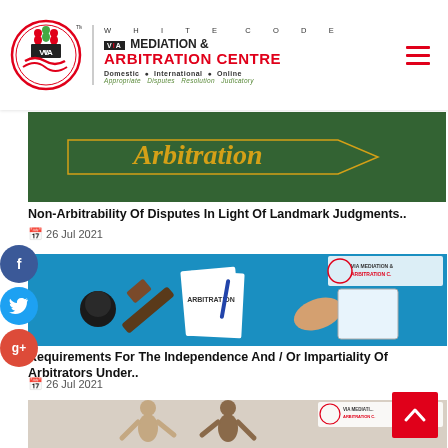[Figure (logo): White Code VIA Mediation & Arbitration Centre logo with circular emblem showing handshake, taglines: Domestic, International, Online and Appropriate Disputes Resolution Judicatory]
[Figure (photo): Chalkboard with arrow sign reading 'Arbitration' in yellow chalk text on green background]
Non-Arbitrability Of Disputes In Light Of Landmark Judgments..
26 Jul 2021
[Figure (illustration): Blue background with arbitration documents, gavel, papers and hands, VIA Mediation & Arbitration Centre logo overlay]
Requirements For The Independence And / Or Impartiality Of Arbitrators Under..
26 Jul 2021
[Figure (photo): Partial view of wooden mannequin figures, VIA Mediation & Arbitration Centre logo overlay]